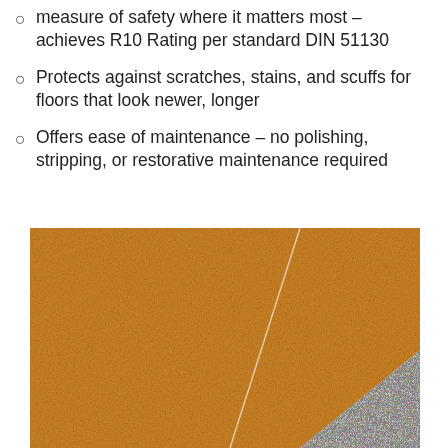measure of safety where it matters most – achieves R10 Rating per standard DIN 51130
Protects against scratches, stains, and scuffs for floors that look newer, longer
Offers ease of maintenance – no polishing, stripping, or restorative maintenance required
[Figure (photo): Close-up photograph of two flooring samples side by side: a warm golden/amber colored smooth vinyl tile on the left, and a light grey speckled vinyl tile on the right, separated by a diagonal line.]